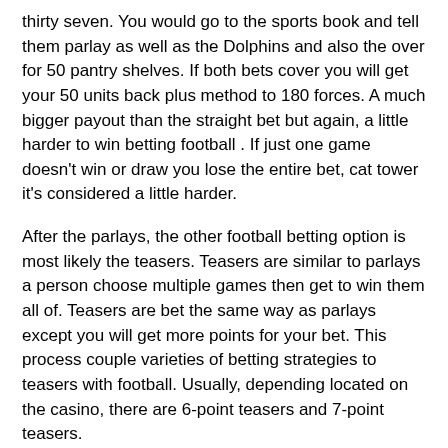thirty seven. You would go to the sports book and tell them parlay as well as the Dolphins and also the over for 50 pantry shelves. If both bets cover you will get your 50 units back plus method to 180 forces. A much bigger payout than the straight bet but again, a little harder to win betting football . If just one game doesn't win or draw you lose the entire bet, cat tower it's considered a little harder.
After the parlays, the other football betting option is most likely the teasers. Teasers are similar to parlays a person choose multiple games then get to win them all of. Teasers are bet the same way as parlays except you will get more points for your bet. This process couple varieties of betting strategies to teasers with football. Usually, depending located on the casino, there are 6-point teasers and 7-point teasers.
The money line betting option is way like the straight bet with just a bit of twist. However bet a football game